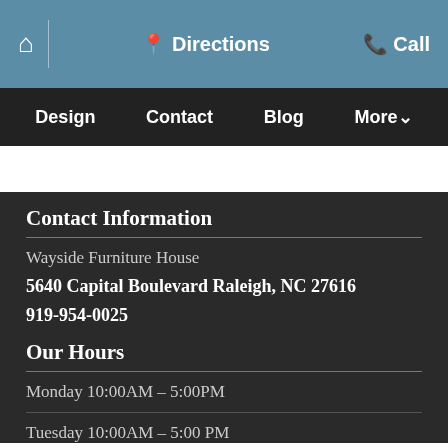🏠 | Directions 📞 Call
Design  Contact  Blog  More▾
Contact Information
Wayside Furniture House
5640 Capital Boulevard Raleigh, NC 27616
919-954-0025
Our Hours
Monday 10:00AM – 5:00PM
Tuesday 10:00AM – 5:00 PM